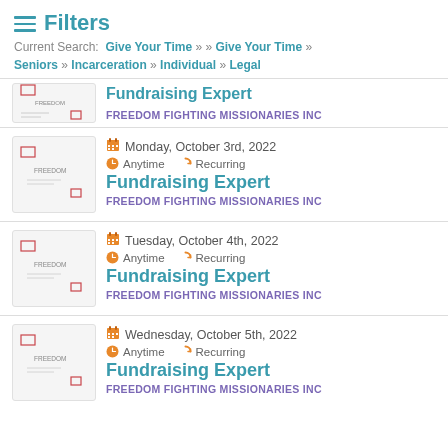Filters
Current Search: Give Your Time » » Give Your Time » Seniors » Incarceration » Individual » Legal
Fundraising Expert — FREEDOM FIGHTING MISSIONARIES INC (partial, top cut off)
Monday, October 3rd, 2022 | Anytime | Recurring | Fundraising Expert | FREEDOM FIGHTING MISSIONARIES INC
Tuesday, October 4th, 2022 | Anytime | Recurring | Fundraising Expert | FREEDOM FIGHTING MISSIONARIES INC
Wednesday, October 5th, 2022 | Anytime | Recurring | Fundraising Expert | FREEDOM FIGHTING MISSIONARIES INC